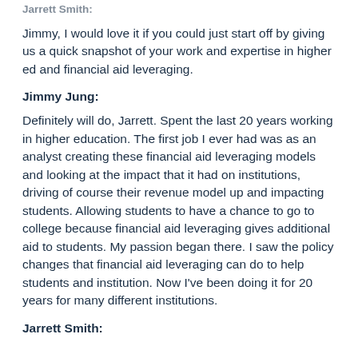Jarrett Smith:
Jimmy, I would love it if you could just start off by giving us a quick snapshot of your work and expertise in higher ed and financial aid leveraging.
Jimmy Jung:
Definitely will do, Jarrett. Spent the last 20 years working in higher education. The first job I ever had was as an analyst creating these financial aid leveraging models and looking at the impact that it had on institutions, driving of course their revenue model up and impacting students. Allowing students to have a chance to go to college because financial aid leveraging gives additional aid to students. My passion began there. I saw the policy changes that financial aid leveraging can do to help students and institution. Now I’ve been doing it for 20 years for many different institutions.
Jarrett Smith: